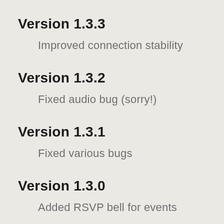Version 1.3.3
Improved connection stability
Version 1.3.2
Fixed audio bug (sorry!)
Version 1.3.1
Fixed various bugs
Version 1.3.0
Added RSVP bell for events